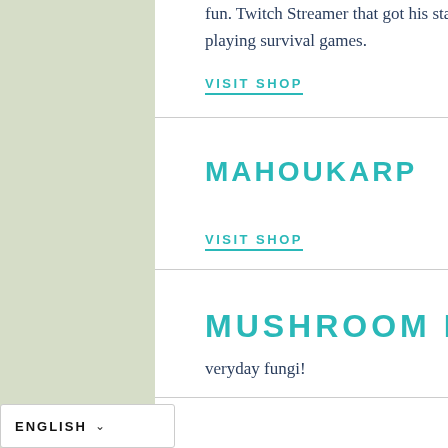fun. Twitch Streamer that got his start playing survival games.
VISIT SHOP
MAHOUKARP
VISIT SHOP
MUSHROOM MOVIE
veryday fungi!
ENGLISH